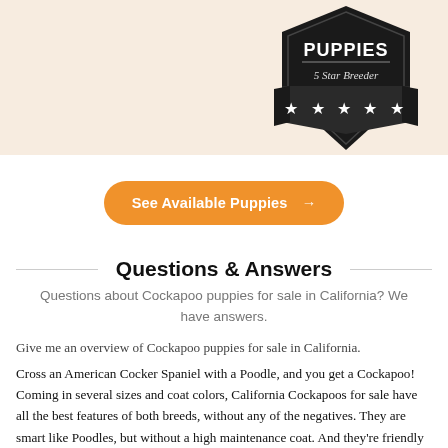[Figure (logo): 5 Star Breeder badge/shield logo with stars on a dark background, partially visible in top-right corner of a beige header banner]
See Available Puppies →
Questions & Answers
Questions about Cockapoo puppies for sale in California? We have answers.
Give me an overview of Cockapoo puppies for sale in California.
Cross an American Cocker Spaniel with a Poodle, and you get a Cockapoo! Coming in several sizes and coat colors, California Cockapoos for sale have all the best features of both breeds, without any of the negatives. They are smart like Poodles, but without a high maintenance coat. And they're friendly like a Cocker